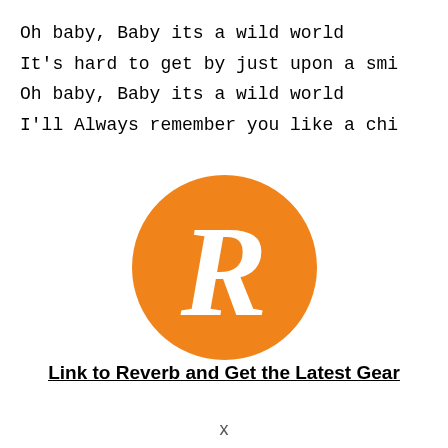Oh baby, Baby its a wild world
It's hard to get by just upon a smi
Oh baby, Baby its a wild world
I'll Always remember you like a chi
[Figure (logo): Reverb logo: orange circle with white italic R letter in the center]
Link to Reverb and Get the Latest Gear
x